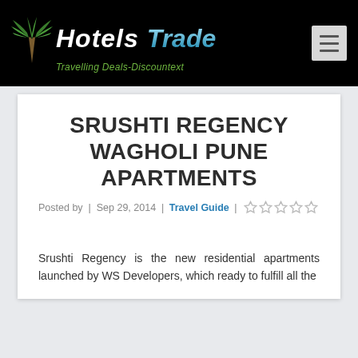[Figure (logo): Hotels Trade logo with palm tree icon and tagline 'Travelling Deals-Discountext' on black header bar]
SRUSHTI REGENCY WAGHOLI PUNE APARTMENTS
Posted by | Sep 29, 2014 | Travel Guide | ★★★★★
Srushti Regency is the new residential apartments launched by WS Developers, which ready to fulfill all the